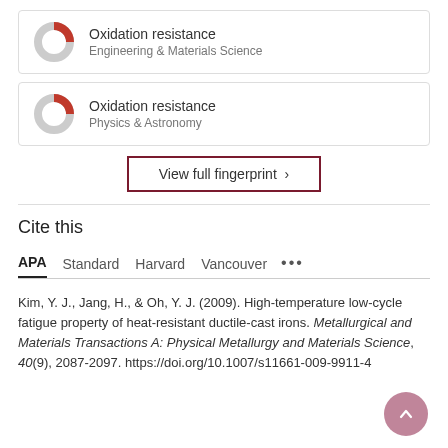[Figure (donut-chart): Donut chart icon with red/gray fill representing Oxidation resistance - Engineering & Materials Science fingerprint badge]
Oxidation resistance
Engineering & Materials Science
[Figure (donut-chart): Donut chart icon with red/gray fill representing Oxidation resistance - Physics & Astronomy fingerprint badge]
Oxidation resistance
Physics & Astronomy
View full fingerprint >
Cite this
APA	Standard	Harvard	Vancouver	...
Kim, Y. J., Jang, H., & Oh, Y. J. (2009). High-temperature low-cycle fatigue property of heat-resistant ductile-cast irons. Metallurgical and Materials Transactions A: Physical Metallurgy and Materials Science, 40(9), 2087-2097. https://doi.org/10.1007/s11661-009-9911-4